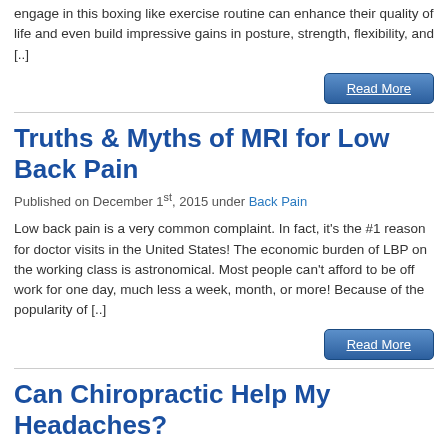engage in this boxing like exercise routine can enhance their quality of life and even build impressive gains in posture, strength, flexibility, and [..]
Read More
Truths & Myths of MRI for Low Back Pain
Published on December 1st, 2015 under Back Pain
Low back pain is a very common complaint. In fact, it's the #1 reason for doctor visits in the United States! The economic burden of LBP on the working class is astronomical. Most people can't afford to be off work for one day, much less a week, month, or more! Because of the popularity of [..]
Read More
Can Chiropractic Help My Headaches?
Published on December 1st, 2015 under Headaches